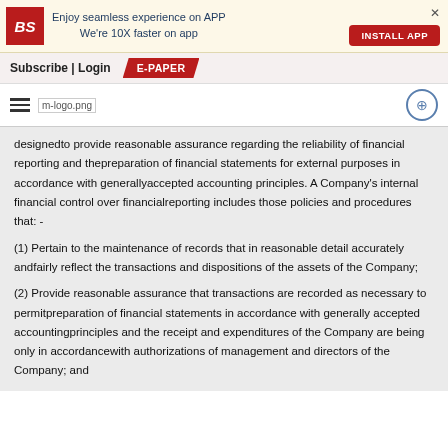[Figure (other): Business Standard app banner with BS logo, text 'Enjoy seamless experience on APP We're 10X faster on app', INSTALL APP button, and close X]
Subscribe | Login   E-PAPER
[Figure (logo): Hamburger menu icon, m-logo.png placeholder, and circular add/share icon]
designedto provide reasonable assurance regarding the reliability of financial reporting and thepreparation of financial statements for external purposes in accordance with generallyaccepted accounting principles. A Company's internal financial control over financialreporting includes those policies and procedures that: -
(1) Pertain to the maintenance of records that in reasonable detail accurately andfairly reflect the transactions and dispositions of the assets of the Company;
(2) Provide reasonable assurance that transactions are recorded as necessary to permitpreparation of financial statements in accordance with generally accepted accountingprinciples and the receipt and expenditures of the Company are being only in accordancewith authorizations of management and directors of the Company; and